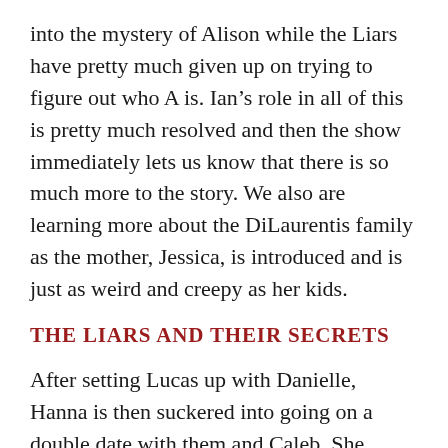into the mystery of Alison while the Liars have pretty much given up on trying to figure out who A is. Ian’s role in all of this is pretty much resolved and then the show immediately lets us know that there is so much more to the story. We also are learning more about the DiLaurentis family as the mother, Jessica, is introduced and is just as weird and creepy as her kids.
THE LIARS AND THEIR SECRETS
After setting Lucas up with Danielle, Hanna is then suckered into going on a double date with them and Caleb. She makes it clear to Caleb that